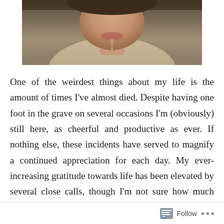[Figure (photo): A photo of a person's lower face and upper body wearing a light-colored shirt, cropped at the top of the page.]
One of the weirdest things about my life is the amount of times I've almost died. Despite having one foot in the grave on several occasions I'm (obviously) still here, as cheerful and productive as ever. If nothing else, these incidents have served to magnify a continued appreciation for each day. My ever-increasing gratitude towards life has been elevated by several close calls, though I'm not sure how much more I'm willing to take. This "payment/reward" program I've been both fortunate AND unfortunate enough to participate in is getting old, and I'd like to think I can
Follow ...